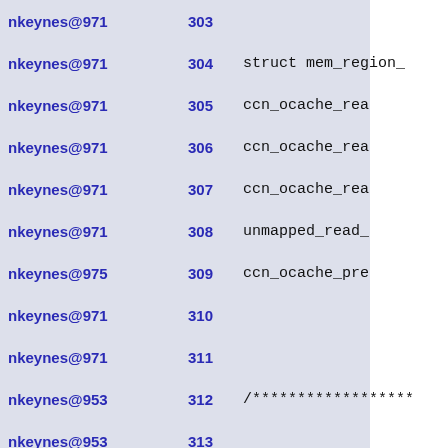nkeynes@971  303
nkeynes@971  304  struct mem_region_
nkeynes@971  305       ccn_ocache_rea
nkeynes@971  306       ccn_ocache_rea
nkeynes@971  307       ccn_ocache_rea
nkeynes@971  308       unmapped_read_
nkeynes@975  309       ccn_ocache_pre
nkeynes@971  310
nkeynes@971  311
nkeynes@953  312 /******************
nkeynes@953  313